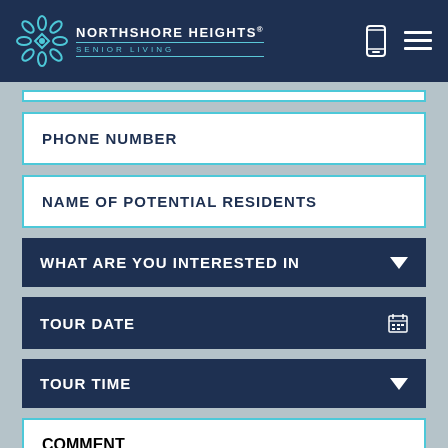NORTHSHORE HEIGHTS. SENIOR LIVING
PHONE NUMBER
NAME OF POTENTIAL RESIDENTS
WHAT ARE YOU INTERESTED IN
TOUR DATE
TOUR TIME
COMMENT